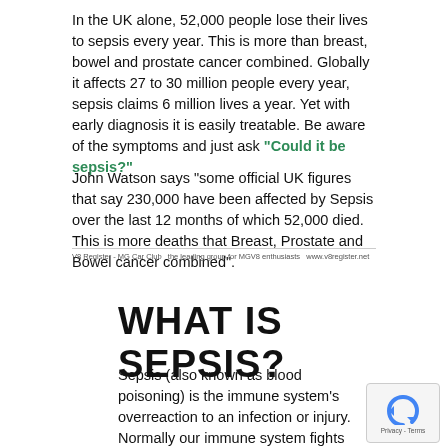In the UK alone, 52,000 people lose their lives to sepsis every year. This is more than breast, bowel and prostate cancer combined. Globally it affects 27 to 30 million people every year, sepsis claims 6 million lives a year. Yet with early diagnosis it is easily treatable. Be aware of the symptoms and just ask "Could it be sepsis?"
John Watson says "some official UK figures that say 230,000 have been affected by Sepsis over the last 12 months of which 52,000 died. This is more deaths that Breast, Prostate and Bowel cancer combined".
V8 Register - MG Car Club  the leading group for MGV8 enthusiasts  www.v8register.net
WHAT IS SEPSIS?
Sepsis (also known as blood poisoning) is the immune system's overreaction to an infection or injury. Normally our immune system fights infection – but sometimes, for reasons we don't yet understand, it attacks our body's own organs and